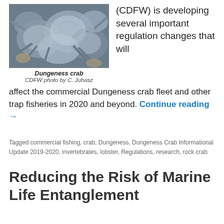[Figure (photo): Close-up photograph of Dungeness crabs piled together, showing their shells and claws]
Dungeness crab
CDFW photo by C. Juhasz
(CDFW) is developing several important regulation changes that will affect the commercial Dungeness crab fleet and other trap fisheries in 2020 and beyond. Continue reading →
Tagged commercial fishing, crab, Dungeness, Dungeness Crab Informational Update 2019-2020, invertebrates, lobster, Regulations, research, rock crab
Reducing the Risk of Marine Life Entanglement